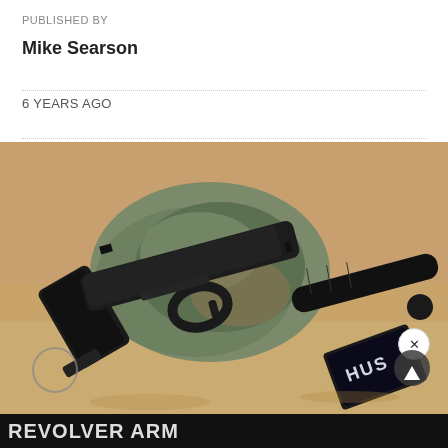PUBLISHED BY
Mike Searson
6 YEARS AGO
[Figure (photo): A black semi-automatic pistol with a suppressor/silencer attached, lying on sandy ground next to a rock. A box of HUS ammunition is visible in the lower right of the image. There is an X close button in the upper right and a play/scroll button in the lower right.]
REVOLVER ARM...